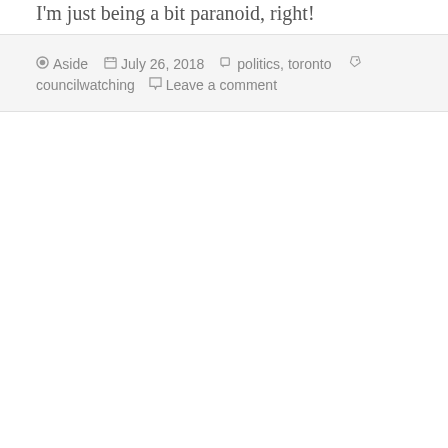I'm just being a bit paranoid, right!
Aside  July 26, 2018  politics, toronto  councilwatching  Leave a comment